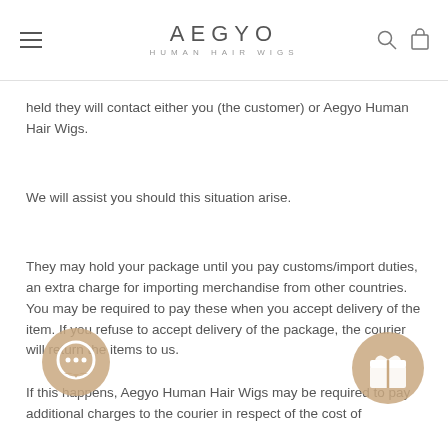AEGYO HUMAN HAIR WIGS
held they will contact either you (the customer) or Aegyo Human Hair Wigs.
We will assist you should this situation arise.
They may hold your package until you pay customs/import duties, an extra charge for importing merchandise from other countries. You may be required to pay these when you accept delivery of the item. If you refuse to accept delivery of the package, the courier will return the items to us.
If this happens, Aegyo Human Hair Wigs may be required to pay additional charges to the courier in respect of the cost of